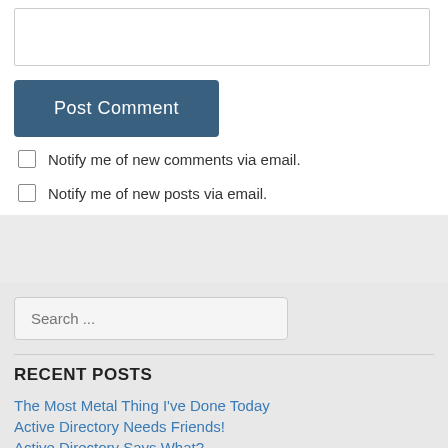[text input box]
Post Comment
Notify me of new comments via email.
Notify me of new posts via email.
Search ...
RECENT POSTS
The Most Metal Thing I've Done Today
Active Directory Needs Friends!
Active Directory Says What?